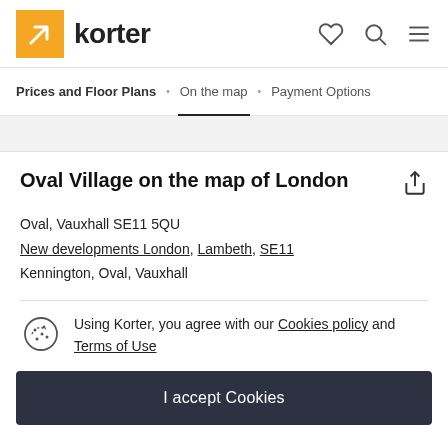korter
Prices and Floor Plans · On the map · Payment Options
Oval Village on the map of London
Oval, Vauxhall SE11 5QU
New developments London, Lambeth, SE11
Kennington, Oval, Vauxhall
Using Korter, you agree with our Cookies policy and Terms of Use
I accept Cookies